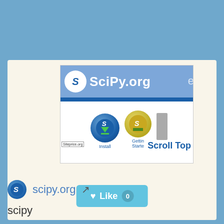[Figure (screenshot): Screenshot of SciPy.org website showing the header with logo and site name, a blue navigation bar, and icons for Install and Getting Started sections with a Siteprice.org tag. A 'Scroll Top' link is visible. A teal 'Like 0' button is shown below the screenshot.]
scipy.org
scipy